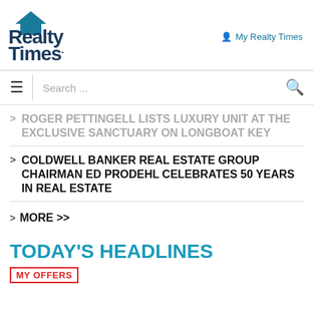[Figure (logo): Realty Times logo with house icon]
My Realty Times
☰  Search ...  🔍
> ROGER PETTINGELL LISTS LUXURY UNIT AT THE EXCLUSIVE SANCTUARY ON LONGBOAT KEY
> COLDWELL BANKER REAL ESTATE GROUP CHAIRMAN ED PRODEHL CELEBRATES 50 YEARS IN REAL ESTATE
> MORE >>
TODAY'S HEADLINES
MY OFFERS